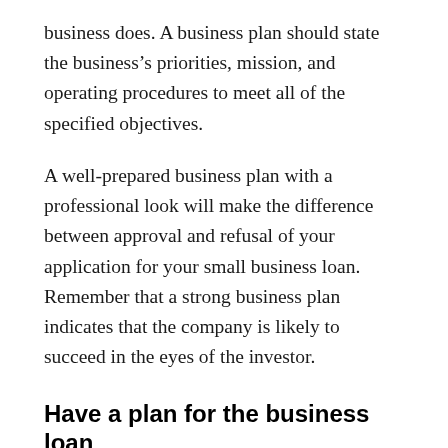business does. A business plan should state the business's priorities, mission, and operating procedures to meet all of the specified objectives.
A well-prepared business plan with a professional look will make the difference between approval and refusal of your application for your small business loan. Remember that a strong business plan indicates that the company is likely to succeed in the eyes of the investor.
Have a plan for the business loan
To qualify for business support, Lenders will want to know how you intend to use the funds and whether